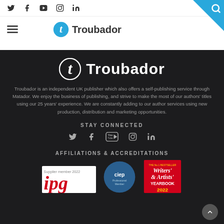Troubador – social icons and navigation header
[Figure (logo): Troubador logo with italic T in circle, large white text on dark background]
Troubador is an independent UK publisher which also offers a self-publishing service through Matador. We enjoy the business of publishing, and strive to make the most of our authors' titles using our 25 years' experience. We are constantly adding to our author services using new production, distribution and marketing opportunities.
STAY CONNECTED
[Figure (infographic): Social media icons: Twitter, Facebook, YouTube, Instagram, LinkedIn]
AFFILIATIONS & ACCREDITATIONS
[Figure (infographic): IPG Supplier member 2022 logo, CIEP Professional Member logo, Writers' & Artists' Yearbook logo]